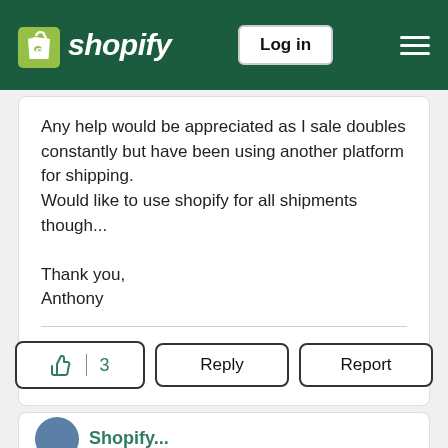[Figure (logo): Shopify logo with shopping bag icon and italic white text 'shopify' on dark green header bar, with Log in button and hamburger menu]
Any help would be appreciated as I sale doubles constantly but have been using another platform for shipping.
Would like to use shopify for all shipments though...

Thank you,
Anthony
[Figure (other): Action buttons row: thumbs up icon with count 3, Reply button, Report button]